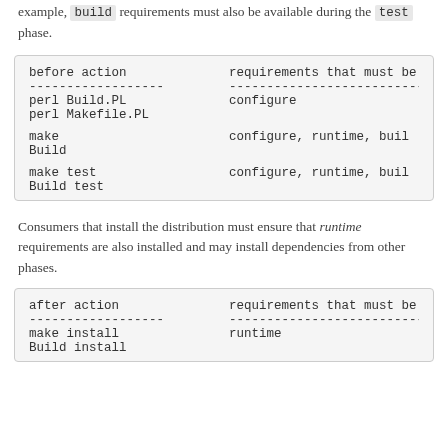example, build requirements must also be available during the test phase.
| before action | requirements that must be |
| --- | --- |
| ------------------ | --------------------------- |
| perl Build.PL | configure |
| perl Makefile.PL |  |
|  |  |
| make | configure, runtime, buil |
| Build |  |
|  |  |
| make test | configure, runtime, buil |
| Build test |  |
Consumers that install the distribution must ensure that runtime requirements are also installed and may install dependencies from other phases.
| after action | requirements that must be |
| --- | --- |
| ------------------ | --------------------------- |
| make install | runtime |
| Build install |  |